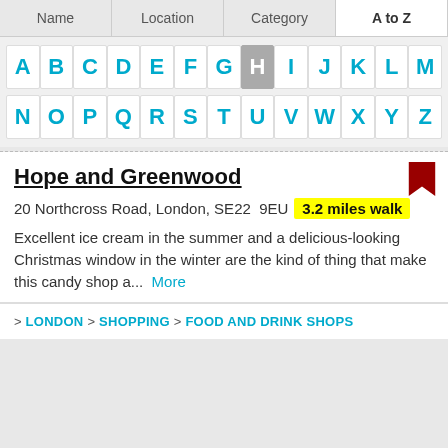| Name | Location | Category | A to Z |
| --- | --- | --- | --- |
[Figure (other): Alphabet A-Z navigation grid with letters A-M on first row and N-Z on second row. Letter H is highlighted/selected in grey. All other letters are in cyan/teal color on white background tiles.]
Hope and Greenwood
20 Northcross Road, London, SE22  9EU   3.2 miles walk
Excellent ice cream in the summer and a delicious-looking Christmas window in the winter are the kind of thing that make this candy shop a...  More
> LONDON > SHOPPING > FOOD AND DRINK SHOPS